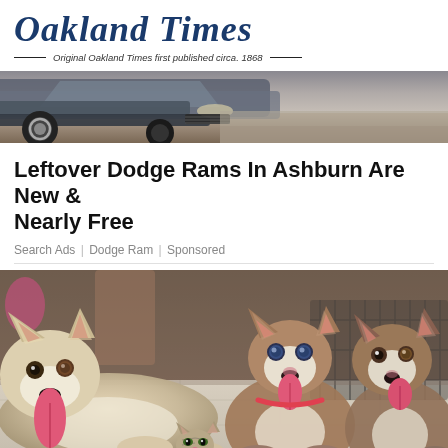Oakland Times — Original Oakland Times first published circa. 1868
[Figure (photo): Photo of a vehicle (truck/SUV), showing the front bumper, wheel, and hood area from a low angle against a dirt/road background.]
Leftover Dodge Rams In Ashburn Are New & Nearly Free
Search Ads | Dodge Ram | Sponsored
[Figure (photo): Photo of three Siberian Husky dogs lying on a tiled floor, with a small kitten sitting in front of them. The dogs are smiling with tongues out. Background shows a room with a dog crate.]